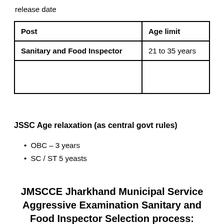release date
| Post | Age limit |
| --- | --- |
| Sanitary and Food Inspector | 21 to 35 years |
|  |  |
JSSC Age relaxation (as central govt rules)
OBC – 3 years
SC / ST 5 yeasts
JMSCCE Jharkhand Municipal Service Aggressive Examination Sanitary and Food Inspector Selection process: